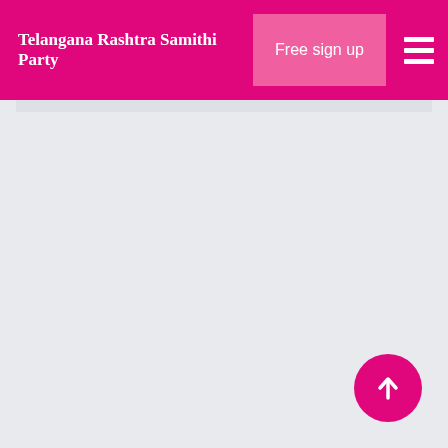Telangana Rashtra Samithi Party  Free sign up
[Figure (screenshot): Light grey empty content area below the navigation header, with a pink circular scroll-to-top button in the bottom right corner]